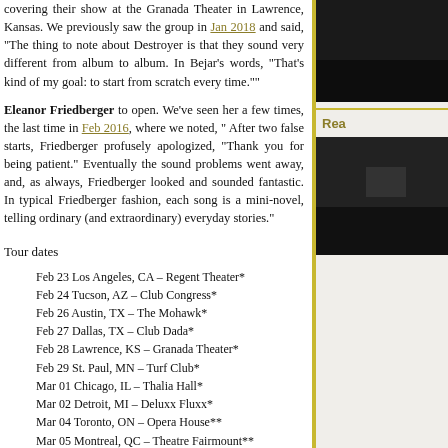covering their show at the Granada Theater in Lawrence, Kansas. We previously saw the group in Jan 2018 and said, "The thing to note about Destroyer is that they sound very different from album to album. In Bejar's words, "That's kind of my goal: to start from scratch every time.""
Eleanor Friedberger to open. We've seen her a few times, the last time in Feb 2016, where we noted, " After two false starts, Friedberger profusely apologized, "Thank you for being patient." Eventually the sound problems went away, and, as always, Friedberger looked and sounded fantastic. In typical Friedberger fashion, each song is a mini-novel, telling ordinary (and extraordinary) everyday stories."
Tour dates
Feb 23 Los Angeles, CA – Regent Theater*
Feb 24 Tucson, AZ – Club Congress*
Feb 26 Austin, TX – The Mohawk*
Feb 27 Dallas, TX – Club Dada*
Feb 28 Lawrence, KS – Granada Theater*
Feb 29 St. Paul, MN – Turf Club*
Mar 01 Chicago, IL – Thalia Hall*
Mar 02 Detroit, MI – Deluxx Fluxx*
Mar 04 Toronto, ON – Opera House**
Mar 05 Montreal, QC – Theatre Fairmount**
Mar 06 Boston, MA – The Sinclair**
Mar 07 New York, NY – Brooklyn Steel**
Mar 08 Philadelphia, PA – Underground Arts**
Mar 09 Washington, DC – Black Cat**
Mar 11 Carrboro, NC – Cat's Cradle**
Mar 12 Atlanta, GA – Terminal West**
Mar 13 Nashville, TN – Mercy Lounge**
[Figure (photo): Dark photograph, likely concert or venue image]
Rea
[Figure (photo): Dark photograph, likely concert or landscape image]